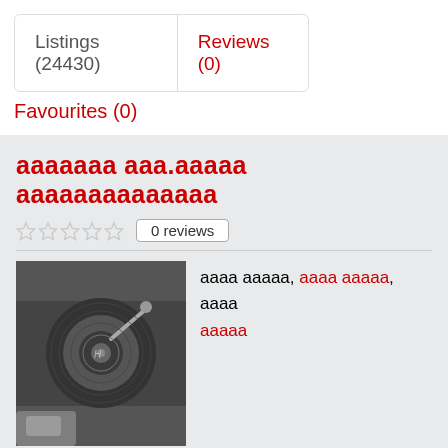Listings (24430)
Reviews (0)
Favourites (0)
ааааааа ааа.ааааа аааааааааааааа
0 reviews
[Figure (photo): Black and white close-up photo of audio/DJ equipment, showing a turntable or mixer with metallic components]
аааа ааааа, аааа ааааа, аааа ааааа
www.soundfxentertainment.net
We don't tier our prices like many others do. We will provide whatever you want and need at your event. We have a professional sound system, 4 wireless